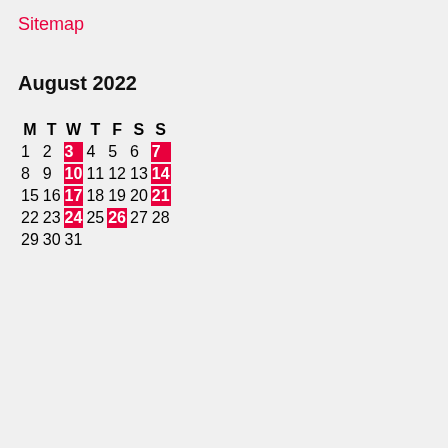Sitemap
August 2022
| M | T | W | T | F | S | S |
| --- | --- | --- | --- | --- | --- | --- |
| 1 | 2 | 3 | 4 | 5 | 6 | 7 |
| 8 | 9 | 10 | 11 | 12 | 13 | 14 |
| 15 | 16 | 17 | 18 | 19 | 20 | 21 |
| 22 | 23 | 24 | 25 | 26 | 27 | 28 |
| 29 | 30 | 31 |  |  |  |  |